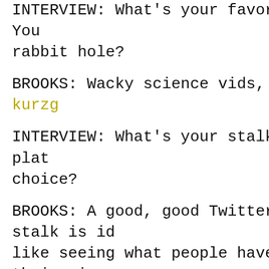INTERVIEW: What's your favorite YouTube rabbit hole?
BROOKS: Wacky science vids, like kurzg…
INTERVIEW: What's your stalking platform of choice?
BROOKS: A good, good Twitter stalk is ideal. I like seeing what people have on their minds at all times hehe.
INTERVIEW: Describe your private browsing persona in 3 words.
BROOKS: Thorough, devoted, and a bit p…
INTERVIEW: Print or digital?